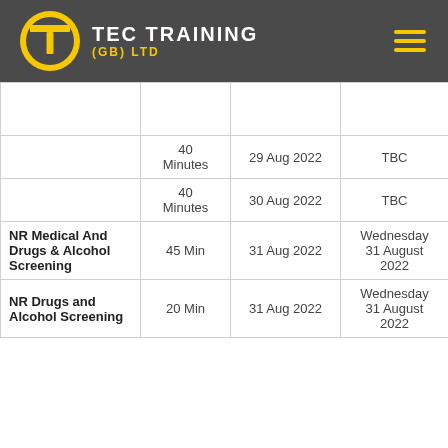TEC TRAINING (GB) LTD
|  |  |  |  |
| --- | --- | --- | --- |
|  |  |  |  |
|  | 40 Minutes | 29 Aug 2022 | TBC |
|  | 40 Minutes | 30 Aug 2022 | TBC |
| NR Medical And Drugs & Alcohol Screening | 45 Min | 31 Aug 2022 | Wednesday 31 August 2022 |
| NR Drugs and Alcohol Screening | 20 Min | 31 Aug 2022 | Wednesday 31 August 2022 |